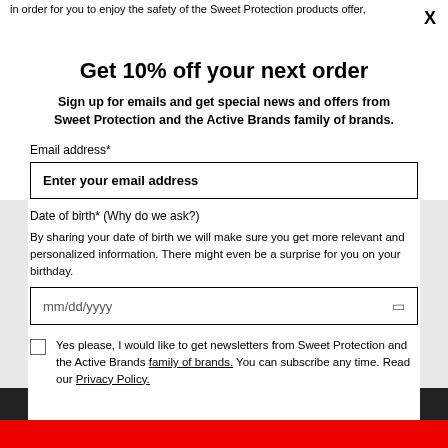in order for you to enjoy the safety of the Sweet Protection products offer,
Get 10% off your next order
Sign up for emails and get special news and offers from Sweet Protection and the Active Brands family of brands.
Email address*
Enter your email address
Date of birth* (Why do we ask?)
By sharing your date of birth we will make sure you get more relevant and personalized information. There might even be a surprise for you on your birthday.
mm/dd/yyyy
Yes please, I would like to get newsletters from Sweet Protection and the Active Brands family of brands. You can subscribe any time. Read our Privacy Policy.